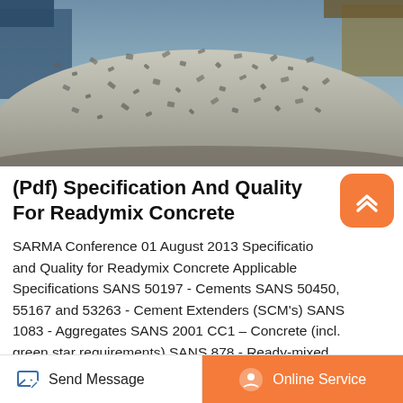[Figure (photo): Large pile of crushed stone/aggregate with construction machinery visible in background]
(Pdf) Specification And Quality For Readymix Concrete
SARMA Conference 01 August 2013 Specification and Quality for Readymix Concrete Applicable Specifications SANS 50197 - Cements SANS 50450, 55167 and 53263 - Cement Extenders (SCM's) SANS 1083 - Aggregates SANS 2001 CC1 – Concrete (incl. green star requirements) SANS 878 - Ready-mixed concrete SANS 50934 – Admixtures for Concrete
Send Message  |  Online Service